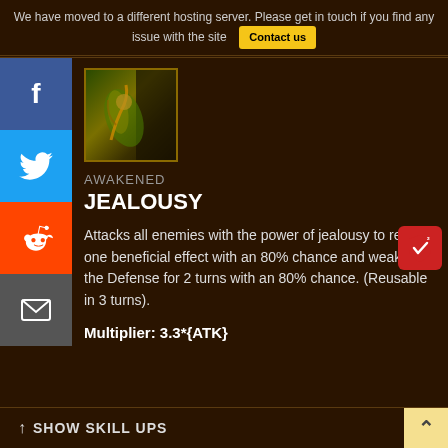We have moved to a different hosting server. Please get in touch if you find any issue with the site   Contact us
[Figure (illustration): Skill icon showing a yellow-green swirling figure on dark background with golden border]
AWAKENED
JEALOUSY
Attacks all enemies with the power of jealousy to remove one beneficial effect with an 80% chance and weakens the Defense for 2 turns with an 80% chance. (Reusable in 3 turns).
Multiplier: 3.3*{ATK}
↑ SHOW SKILL UPS